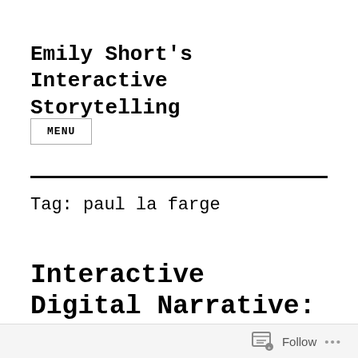Emily Short's Interactive Storytelling
MENU
Tag: paul la farge
Interactive Digital Narrative: History
Follow ...